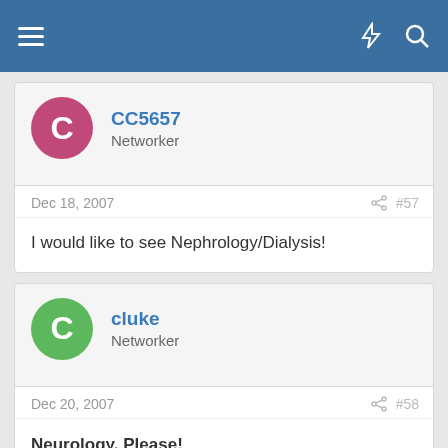Navigation bar with menu, lightning, and search icons
CC5657
Networker
Dec 18, 2007  #57
I would like to see Nephrology/Dialysis!
cluke
Networker
Dec 20, 2007  #58
Neurology, Please!

A neurology section, please.
Love Coding!